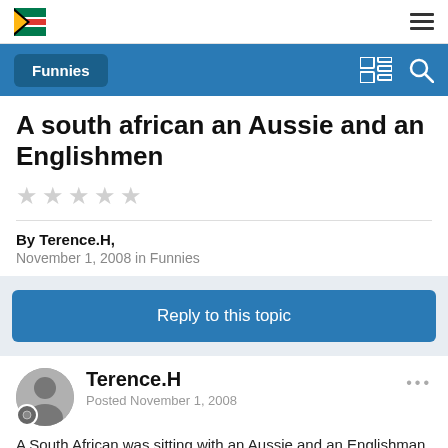Funnies
A south african an Aussie and an Englishmen
By Terence.H,
November 1, 2008 in Funnies
Reply to this topic
Terence.H
Posted November 1, 2008
A South African was sitting with an Aussie and an Englishman in